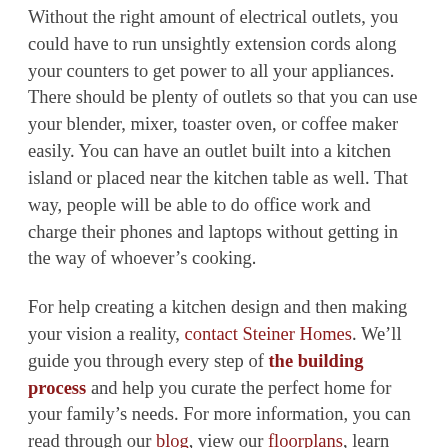Without the right amount of electrical outlets, you could have to run unsightly extension cords along your counters to get power to all your appliances. There should be plenty of outlets so that you can use your blender, mixer, toaster oven, or coffee maker easily. You can have an outlet built into a kitchen island or placed near the kitchen table as well. That way, people will be able to do office work and charge their phones and laptops without getting in the way of whoever's cooking.
For help creating a kitchen design and then making your vision a reality, contact Steiner Homes. We'll guide you through every step of the building process and help you curate the perfect home for your family's needs. For more information, you can read through our blog, view our floorplans, learn about the subdivisions we build in, or check out our photo gallery! If you can't find what you're looking for give us a call at (219) 255-4418 — we're happy to help!